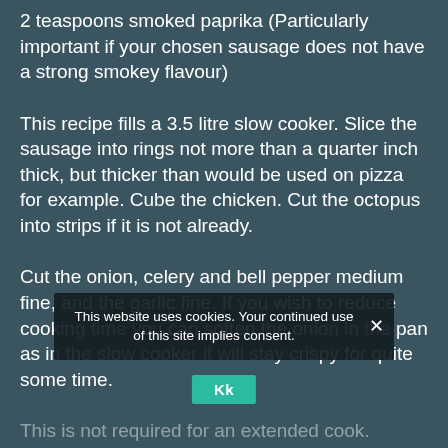2 teaspoons smoked paprika (Particularly important if your chosen sausage does not have a strong smokey flavour)
This recipe fills a 3.5 litre slow cooker. Slice the sausage into rings not more than a quarter inch thick, but thicker than would be used on pizza for example. Cube the chicken. Cut the octopus into strips if it is not already.
Cut the onion, celery and bell pepper medium fine, and the garlic fine. If you wish to reduce cooking time you can soften the onion in the pan as in the slow cooker it will stay crispy for quite some time.
This is not required for an extended cook.
Mix all the ingredients together in a slow cooker and pat the ingredients below the fluid level with a spoon if possible. Cover with the lid which must fit
This website uses cookies. Your continued use of this site implies consent.